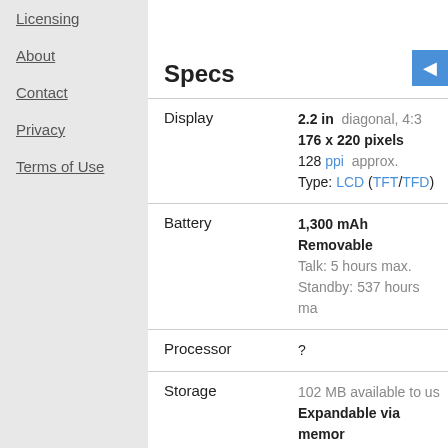Licensing
About
Contact
Privacy
Terms of Use
Specs
| Spec | Value |
| --- | --- |
| Display | 2.2 in  diagonal, 4:3
176 x 220 pixels
128 ppi  approx.
Type: LCD (TFT/TFD) |
| Battery | 1,300 mAh
Removable
Talk: 5 hours max.
Standby: 537 hours ma |
| Processor | ? |
| Storage | 102 MB available to us
Expandable via memor |
| Cameras | 2 megapixel
night mode, brightness,
zoom, timer functions
Video: 1 minute |
| Weight | 3.88 oz  110 g |
| Dimensions | 3.85 x 2 x 0.94 in  98 x |